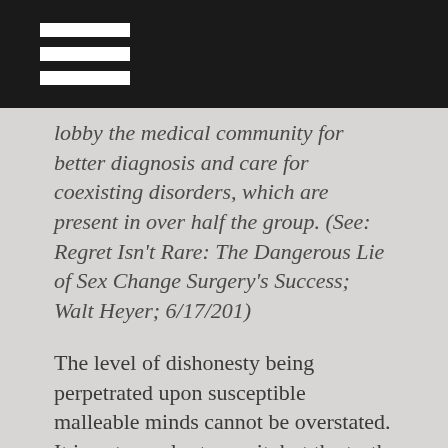lobby the medical community for better diagnosis and care for coexisting disorders, which are present in over half the group. (See: Regret Isn’t Rare: The Dangerous Lie of Sex Change Surgery’s Success; Walt Heyer; 6/17/201)
The level of dishonesty being perpetrated upon susceptible malleable minds cannot be overstated. It is not popular to say it, but the truth is its own defense. These chickens are going to come